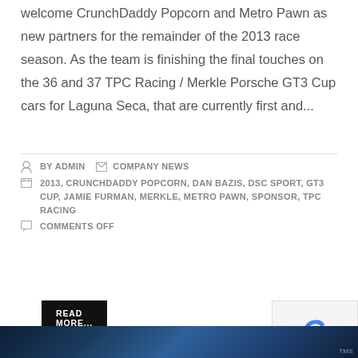welcome CrunchDaddy Popcorn and Metro Pawn as new partners for the remainder of the 2013 race season. As the team is finishing the final touches on the 36 and 37 TPC Racing / Merkle Porsche GT3 Cup cars for Laguna Seca, that are currently first and...
BY ADMIN  COMPANY NEWS  2013, CRUNCHDADDY POPCORN, DAN BAZIS, DSC SPORT, GT3 CUP, JAMIE FURMAN, MERKLE, METRO PAWN, SPONSOR, TPC RACING  COMMENTS OFF
READ MORE...
[Figure (photo): Partial view of a racing car photo at the bottom of the page, dark blue tones, blurred motion]